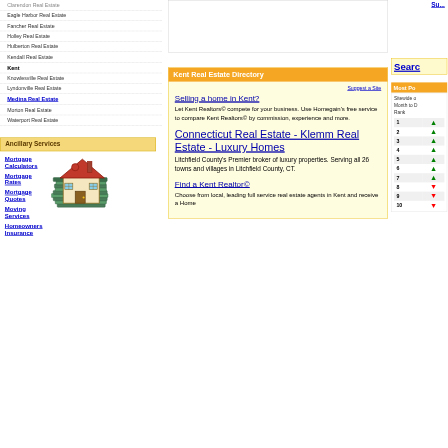Clarendon Real Estate
Eagle Harbor Real Estate
Fancher Real Estate
Holley Real Estate
Hulberton Real Estate
Kendall Real Estate
Kent
Knowlesville Real Estate
Lyndonville Real Estate
Medina Real Estate
Morton Real Estate
Waterport Real Estate
Ancillary Services
Mortgage Calculators
Mortgage Rates
Mortgage Quotes
Moving Services
Homeowners Insurance
[Figure (illustration): House illustration on a stack of bills/money]
Kent Real Estate Directory
Suggest a Site
Selling a home in Kent? Let Kent Realtors© compete for your business. Use Homegain's free service to compare Kent Realtors© by commission, experience and more.
Connecticut Real Estate - Klemm Real Estate - Luxury Homes Litchfield County's Premier broker of luxury properties. Serving all 26 towns and villages in Litchfield County, CT.
Find a Kent Realtor© Choose from local, leading full service real estate agents in Kent and receive a Home
Search
Most Po
Sitewide o Month to D Rank
1
2
3
4
5
6
7
8
9
10